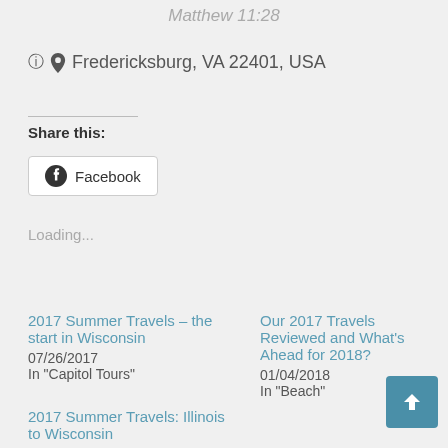Matthew 11:28
📍 Fredericksburg, VA 22401, USA
Share this:
Facebook
Loading...
2017 Summer Travels – the start in Wisconsin
07/26/2017
In "Capitol Tours"
Our 2017 Travels Reviewed and What's Ahead for 2018?
01/04/2018
In "Beach"
2017 Summer Travels: Illinois to Wisconsin
07/13/2017